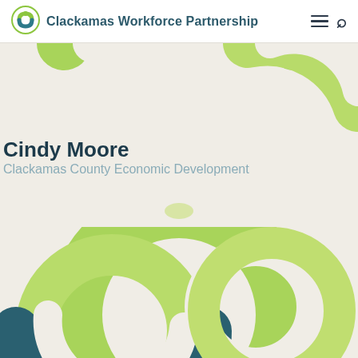Clackamas Workforce Partnership
[Figure (logo): Clackamas Workforce Partnership logo - circular interlocking rings in green and teal]
[Figure (illustration): Top decorative graphic: green circular arc/ring shapes on beige background, partially visible at top of page]
Cindy Moore
Clackamas County Economic Development
[Figure (illustration): Bottom decorative graphic: large interlocking circular ring shapes in green, white, and dark teal/navy blue on beige background]